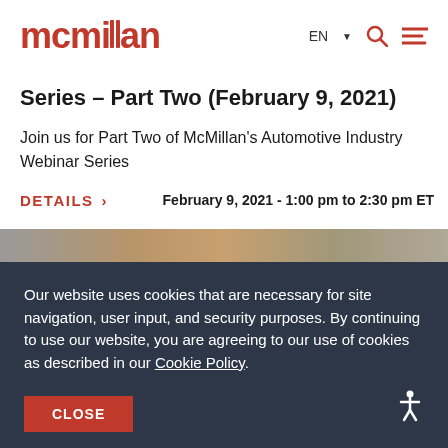mcmillan  EN  [search] [menu]
Series – Part Two (February 9, 2021)
Join us for Part Two of McMillan's Automotive Industry Webinar Series
DETAILS >   February 9, 2021 - 1:00 pm to 2:30 pm ET
[Figure (photo): Blurred automotive/industrial background image strip]
Our website uses cookies that are necessary for site navigation, user input, and security purposes. By continuing to use our website, you are agreeing to our use of cookies as described in our Cookie Policy.
CLOSE